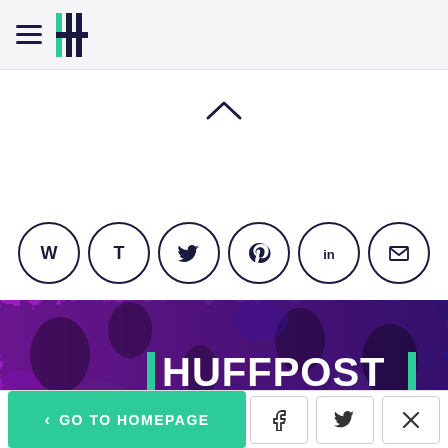HuffPost navigation header with hamburger menu and logo
[Figure (other): Upward chevron/caret arrow indicating collapse]
[Figure (other): Row of six circular social sharing icons: Flipboard (W), Tumblr (T), Twitter bird, Pinterest, LinkedIn, Email]
[Figure (other): HuffPost banner image with purple-blue abstract crowd background and white HUFFPOST logo with teal bracket marks]
[Figure (other): Bottom navigation bar with teal GO TO HOMEPAGE button and Facebook, Twitter, X close icons]